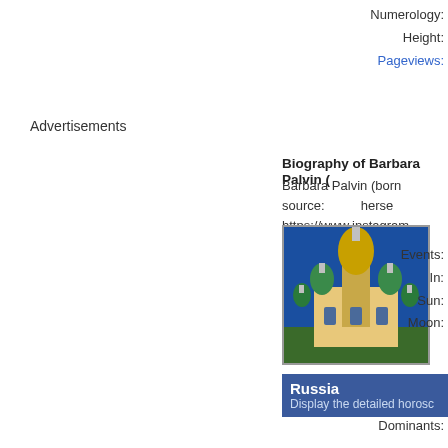Numerology:
Height:
Pageviews:
Advertisements
Biography of Barbara Palvin (
Barbara Palvin (born source: herse https://www.instagram heet&igshid=1g5lajp2e Personal life Palvin w age, Palvin took up s favorite hobbies.
Russia
Display the detailed horosc
[Figure (photo): Photo of an ornate Russian Orthodox church with colorful onion domes against a blue sky]
Events: In: Sun: Moon:
Dominants: